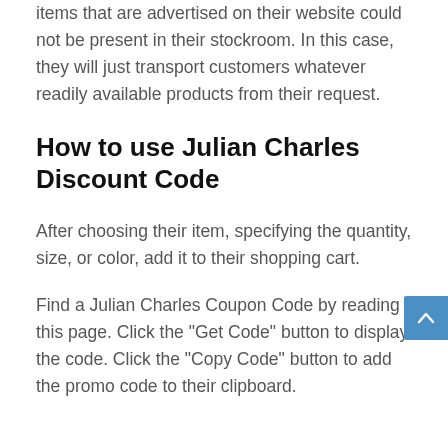items that are advertised on their website could not be present in their stockroom. In this case, they will just transport customers whatever readily available products from their request.
How to use Julian Charles Discount Code
After choosing their item, specifying the quantity, size, or color, add it to their shopping cart.
Find a Julian Charles Coupon Code by reading this page. Click the "Get Code" button to display the code. Click the "Copy Code" button to add the promo code to their clipboard.